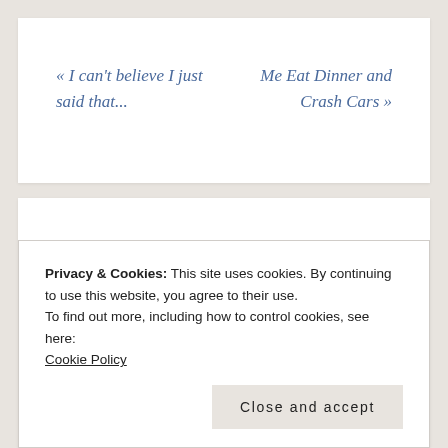« I can't believe I just said that...
Me Eat Dinner and Crash Cars »
Comments
Privacy & Cookies: This site uses cookies. By continuing to use this website, you agree to their use.
To find out more, including how to control cookies, see here: Cookie Policy
Close and accept